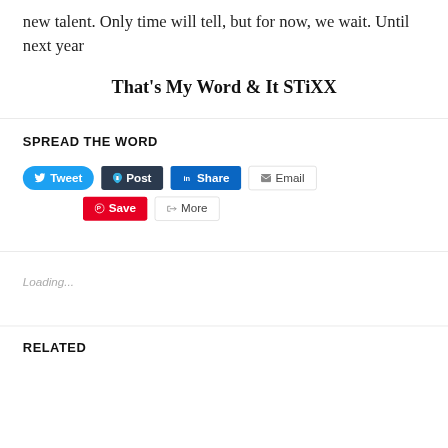new talent. Only time will tell, but for now, we wait. Until next year
That's My Word & It STiXX
SPREAD THE WORD
[Figure (other): Social sharing buttons: Tweet, Post, Share, Email, Save, More]
Loading...
RELATED